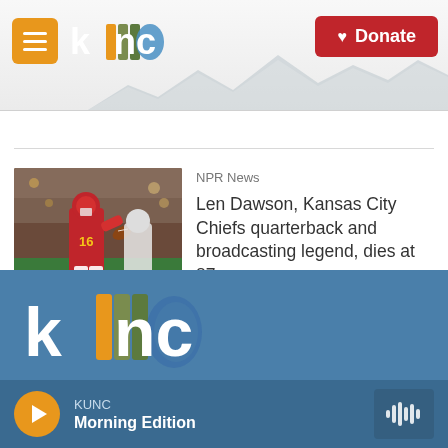[Figure (screenshot): KUNC radio website header with hamburger menu, KUNC logo, mountain background, and red Donate button]
NPR News
[Figure (photo): Kansas City Chiefs quarterback #16 Len Dawson in red uniform throwing a football during a game]
Len Dawson, Kansas City Chiefs quarterback and broadcasting legend, dies at 87
[Figure (logo): KUNC logo in large white text on blue background in footer]
KUNC
Morning Edition